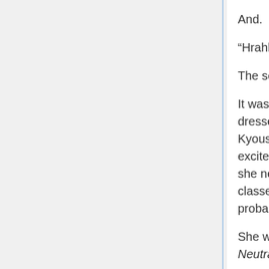And.
“Hrahh! Good morning, Onii-chan!!”
The sound of rattling backpacks doubled.
It was a girl with her long blonde hair worn in two braids. She was still dressed in that bizarre outfit based on a school swimsuit, but when Kyousuke recalled the night before when his sister had been too excited to sleep and had him help her make sure she had everything she needed for school, he remembered that there were still pool classes in early September. Everyone in this girl’s class would probably see her as just a little overeager to swim.
She was Olivia Highland, First Princess of the Flanguild Permanently Neutral Kingdom.